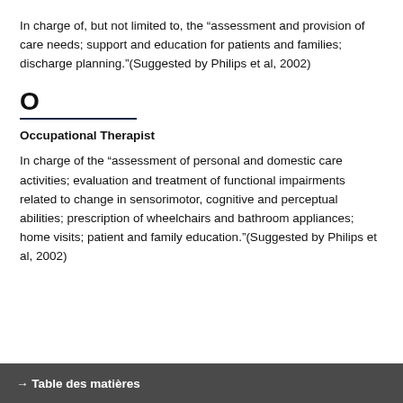In charge of, but not limited to, the “assessment and provision of care needs; support and education for patients and families; discharge planning.”(Suggested by Philips et al, 2002)
O
Occupational Therapist
In charge of the “assessment of personal and domestic care activities; evaluation and treatment of functional impairments related to change in sensorimotor, cognitive and perceptual abilities; prescription of wheelchairs and bathroom appliances; home visits; patient and family education.”(Suggested by Philips et al, 2002)
→ Table des matières